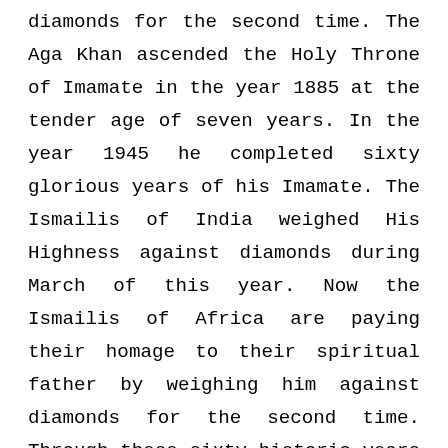diamonds for the second time. The Aga Khan ascended the Holy Throne of Imamate in the year 1885 at the tender age of seven years. In the year 1945 he completed sixty glorious years of his Imamate. The Ismailis of India weighed His Highness against diamonds during March of this year. Now the Ismailis of Africa are paying their homage to their spiritual father by weighing him against diamonds for the second time. Through these sixty historic years of his rule His Highness has had a career of the utmost devotion and untiring service to the cause of human welfare. The Ismailis owe their all to his profound wisdom and most